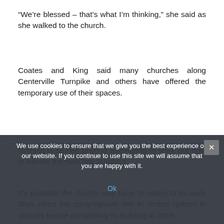“We’re blessed – that’s what I’m thinking,” she said as she walked to the church.
Coates and King said many churches along Centerville Turnpike and others have offered the temporary use of their spaces.
Nothing is settled beyond attempting to work out how to handle the next few Sundays.
It’s possible the church may have to return to its early days when the congregation met in rented spaces in schools before completing its building in 2009.
“It’s been disheartening, but I know our people. We’ve been through some trying times,” said Coates, who has been director for five years. “People of Real Life Christian Church
We use cookies to ensure that we give you the best experience on our website. If you continue to use this site we will assume that you are happy with it.